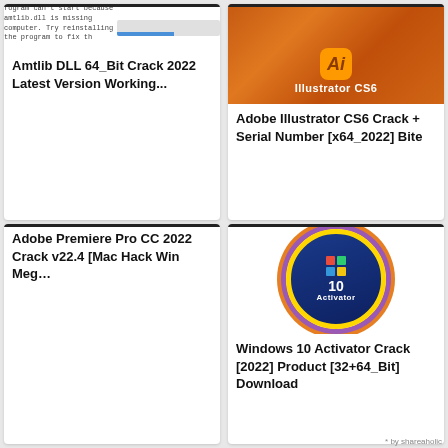[Figure (screenshot): Error dialog and progress bar for Amtlib DLL]
Amtlib DLL 64_Bit Crack 2022 Latest Version Working...
[Figure (screenshot): Adobe Illustrator CS6 orange gradient logo with Ai badge]
Adobe Illustrator CS6 Crack + Serial Number [x64_2022] Bite
[Figure (photo): Landscape photo with lake and sky, Crackeddoc.com watermark]
Adobe Premiere Pro CC 2022 Crack v22.4 [Mac Hack Win Meg...
[Figure (illustration): Windows 10 Activator circular badge with Windows logo]
Windows 10 Activator Crack [2022] Product [32+64_Bit] Download
* by shareaholic